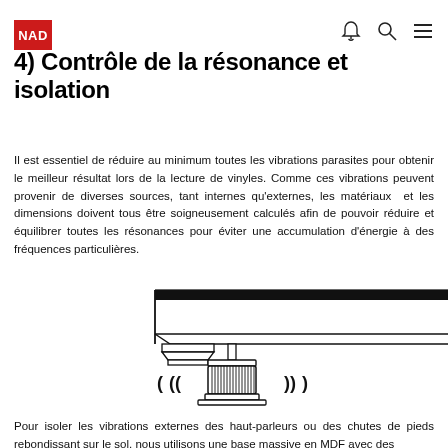NAD logo and navigation icons
4) Contrôle de la résonance et isolation
Il est essentiel de réduire au minimum toutes les vibrations parasites pour obtenir le meilleur résultat lors de la lecture de vinyles. Comme ces vibrations peuvent provenir de diverses sources, tant internes qu'externes, les matériaux et les dimensions doivent tous être soigneusement calculés afin de pouvoir réduire et équilibrer toutes les résonances pour éviter une accumulation d'énergie à des fréquences particulières.
[Figure (engineering-diagram): Technical illustration showing a cross-section of a turntable base with an isolation foot. The foot features a cylindrical knurled body with vibration wave symbols on each side (((  ))), mounted beneath the plinth/chassis of the turntable.]
Pour isoler les vibrations externes des haut-parleurs ou des chutes de pieds rebondissant sur le sol, nous utilisons une base massive en MDF avec des